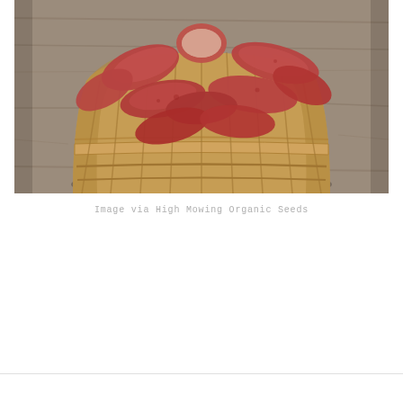[Figure (photo): A wooden bushel basket filled with red fingerling potatoes on a weathered wooden surface. One potato is cut in half showing the red skin. The basket has a woven wooden slat construction with a band around the middle.]
Image via High Mowing Organic Seeds